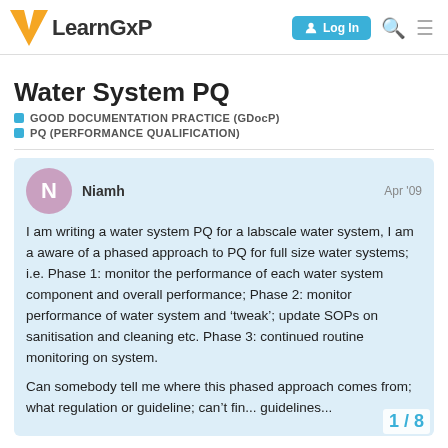LearnGxP | Log In
Water System PQ
GOOD DOCUMENTATION PRACTICE (GDocP)
PQ (PERFORMANCE QUALIFICATION)
Niamh  Apr '09
I am writing a water system PQ for a labscale water system, I am a aware of a phased approach to PQ for full size water systems; i.e. Phase 1: monitor the performance of each water system component and overall performance; Phase 2: monitor performance of water system and ‘tweak’; update SOPs on sanitisation and cleaning etc. Phase 3: continued routine monitoring on system.

Can somebody tell me where this phased approach comes from; what regulation or guideline; can’t fin... guidelines...
1 / 8